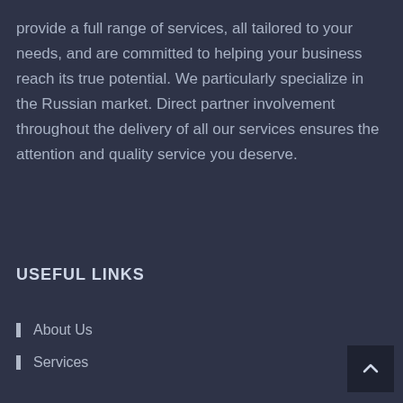provide a full range of services, all tailored to your needs, and are committed to helping your business reach its true potential. We particularly specialize in the Russian market. Direct partner involvement throughout the delivery of all our services ensures the attention and quality service you deserve.
USEFUL LINKS
About Us
Services